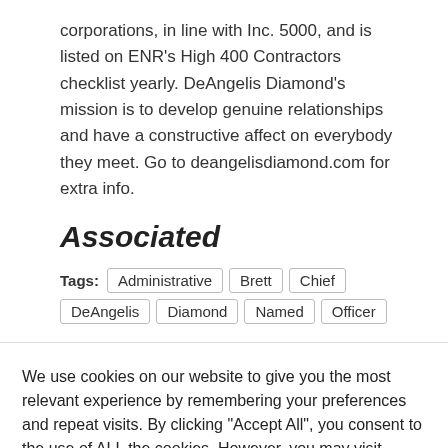corporations, in line with Inc. 5000, and is listed on ENR's High 400 Contractors checklist yearly. DeAngelis Diamond's mission is to develop genuine relationships and have a constructive affect on everybody they meet. Go to deangelisdiamond.com for extra info.
Associated
Tags: Administrative Brett Chief DeAngelis Diamond Named Officer
We use cookies on our website to give you the most relevant experience by remembering your preferences and repeat visits. By clicking "Accept All", you consent to the use of ALL the cookies. However, you may visit "Cookie Settings" to provide a controlled consent.